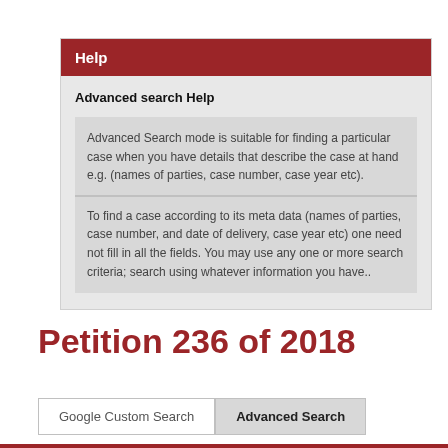Help
Advanced search Help
Advanced Search mode is suitable for finding a particular case when you have details that describe the case at hand e.g. (names of parties, case number, case year etc).
To find a case according to its meta data (names of parties, case number, and date of delivery, case year etc) one need not fill in all the fields. You may use any one or more search criteria; search using whatever information you have..
Petition 236 of 2018
Google Custom Search
Advanced Search